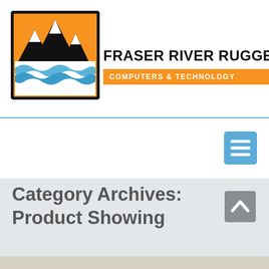[Figure (logo): Fraser River Rugged Computers & Technology logo with orange background, black mountain peaks, and blue river waves]
FRASER RIVER RUGGED COMPUTERS & TECHNOLOGY
[Figure (other): Blue hamburger menu button with three white horizontal lines]
Category Archives: Product Showing
[Figure (other): Grey scroll-to-top button with upward chevron arrow]